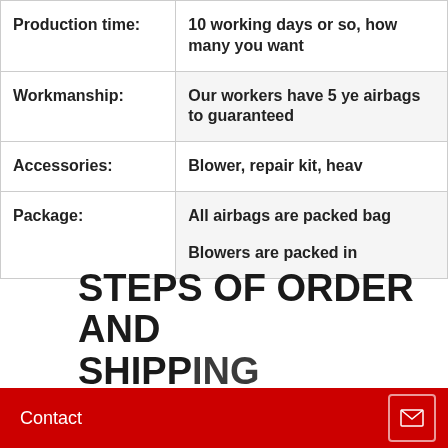| Production time: | 10 working days or so, how many you want |
| Workmanship: | Our workers have 5 ye... airbags to guaranteed... |
| Accessories: | Blower, repair kit, heav... |
| Package: | All airbags are packed... bag
Blowers are packed in... |
STEPS OF ORDER AND SHIPPING
Contact